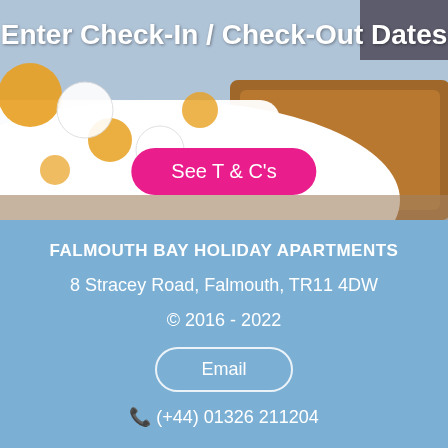[Figure (photo): Photo of a bed with white and yellow patterned duvet/pillow with wooden headboard, partially visible in background]
Enter Check-In / Check-Out Dates
See T & C's
FALMOUTH BAY HOLIDAY APARTMENTS
8 Stracey Road, Falmouth, TR11 4DW
© 2016 - 2022
Email
(+44) 01326 211204